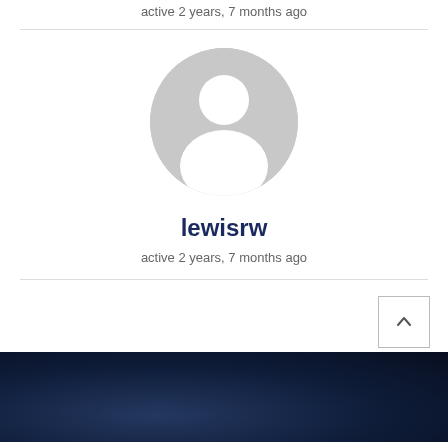active 2 years, 7 months ago
[Figure (illustration): Default gray avatar/profile placeholder icon showing a person silhouette]
lewisrw
active 2 years, 7 months ago
[Figure (photo): Dark navy blue textured background footer area with a back-to-top button (upward chevron in a bordered box)]